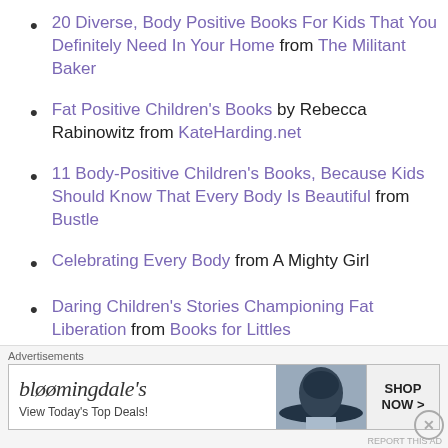20 Diverse, Body Positive Books For Kids That You Definitely Need In Your Home from The Militant Baker
Fat Positive Children's Books by Rebecca Rabinowitz from KateHarding.net
11 Body-Positive Children's Books, Because Kids Should Know That Every Body Is Beautiful from Bustle
Celebrating Every Body from A Mighty Girl
Daring Children's Stories Championing Fat Liberation from Books for Littles
[Figure (other): Bloomingdales advertisement banner with logo, 'View Today's Top Deals!' text, woman with large hat, and 'SHOP NOW >' button]